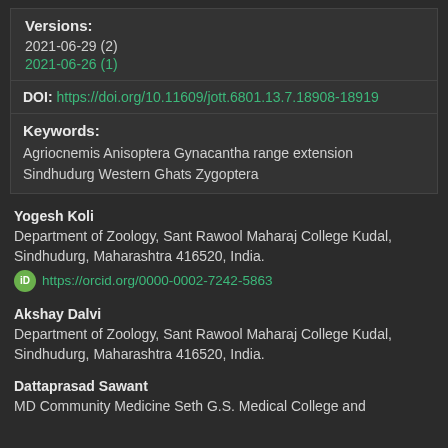Versions:
2021-06-29 (2)
2021-06-26 (1)
DOI: https://doi.org/10.11609/jott.6801.13.7.18908-18919
Keywords:
Agriocnemis Anisoptera Gynacantha range extension Sindhudurg Western Ghats Zygoptera
Yogesh Koli
Department of Zoology, Sant Rawool Maharaj College Kudal, Sindhudurg, Maharashtra 416520, India.
https://orcid.org/0000-0002-7242-5863
Akshay Dalvi
Department of Zoology, Sant Rawool Maharaj College Kudal, Sindhudurg, Maharashtra 416520, India.
Dattaprasad Sawant
MD Community Medicine Seth G.S. Medical College and...